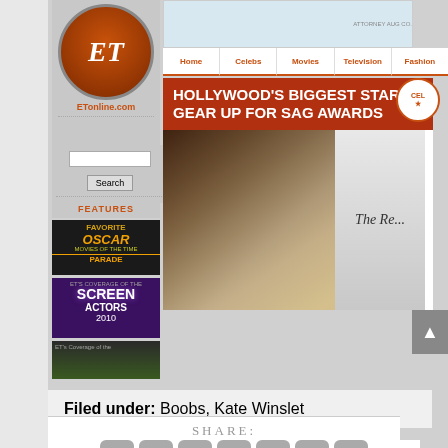[Figure (logo): ET Entertainment Tonight logo circle with ET text]
ETonline.com
Search
FEATURES
[Figure (photo): FAVORITE OSCAR MOVIES OF THE TIME PARADE banner]
[Figure (photo): ET's Coverage of the Screen Actors Guild Awards banner]
[Figure (photo): ET's Coverage of the ... green banner]
Home | Celebs | Movies | Television | Fashion
HOLLYWOOD'S BIGGEST STARS GEAR UP FOR SAG AWARDS
[Figure (photo): Kate Winslet blonde in dark dress at event, next to The Reader movie poster]
Filed under: Boobs, Kate Winslet
SHARE: